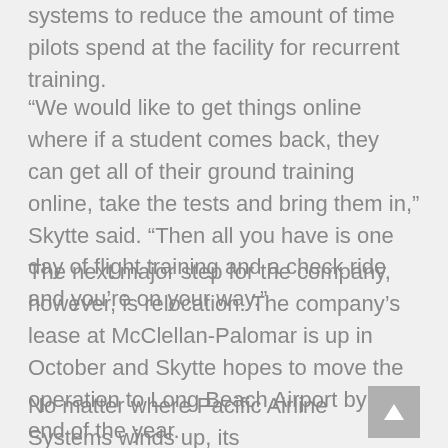systems to reduce the amount of time pilots spend at the facility for recurrent training.
“We would like to get things online where if a student comes back, they can get all of their ground training online, take the tests and bring them in,” Skytte said. “Then all you have is one day of flight training and a check ride and you’re on your way.”
The next major step for the company, however, is relocation. The company’s lease at McClellan-Palomar is up in October and Skytte hopes to move the operation to Long Beach Airport by the end of the year.
No matter where Pacific Airline Systems winds up, its commitment to quality flight